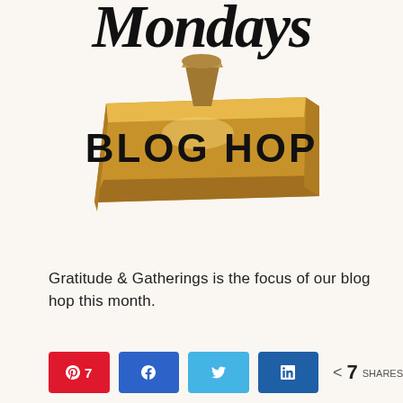[Figure (illustration): Blog hop banner graphic showing a decorative wooden stamp/plank with 'BLOG HOP' text in bold black letters, with a cursive script text (Mondays) partially visible at the top in black.]
Gratitude & Gatherings is the focus of our blog hop this month.
[Figure (infographic): Social share buttons row: Pinterest (red, count 7), Facebook (blue), Twitter (light blue), LinkedIn (dark blue), and a share count showing < 7 SHARES]